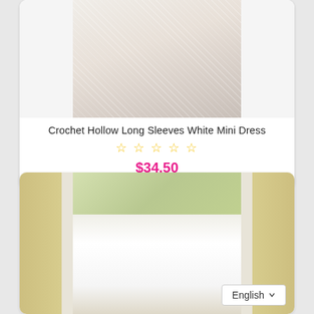[Figure (photo): White lacy crochet mini dress on a model, cropped view showing the lower body and hem]
Crochet Hollow Long Sleeves White Mini Dress
☆☆☆☆☆ (5 empty stars rating)
$34.50
[Figure (photo): Woman in white long-sleeve maxi dress with cutout and slit, standing in a doorway with gold curtains and flowers in background]
English ∨